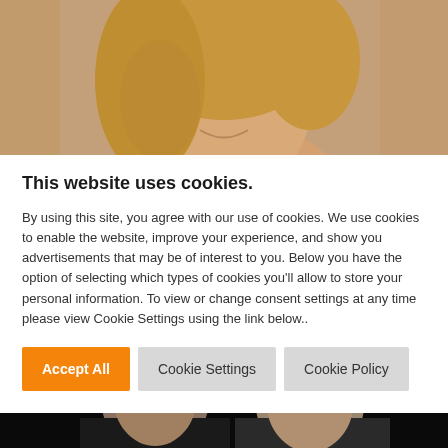[Figure (photo): Top portion of a woman with blonde hair and a warm smile, photographed against a tan/beige background, cropped to show face and top of shoulders.]
This website uses cookies.
By using this site, you agree with our use of cookies. We use cookies to enable the website, improve your experience, and show you advertisements that may be of interest to you. Below you have the option of selecting which types of cookies you'll allow to store your personal information. To view or change consent settings at any time please view Cookie Settings using the link below..
[Figure (photo): Bottom portion of two men against a black background, both wearing dark clothing. The man on the left wears a backwards cap.]